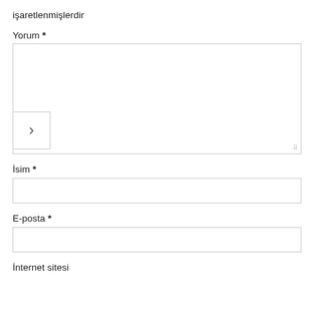işaretlenmişlerdir
Yorum *
[Figure (screenshot): Large empty textarea form field with resize handle at bottom right, and a navigation arrow button (›) overlaid on the left side]
İsim *
[Figure (screenshot): Single-line text input field, empty]
E-posta *
[Figure (screenshot): Single-line text input field, empty]
İnternet sitesi